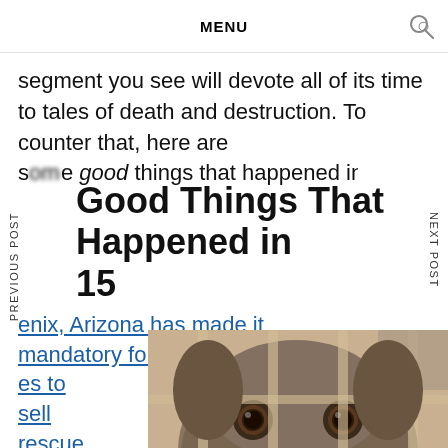MENU
segment you see will devote all of its time to tales of death and destruction. To counter that, here are some good things that happened in 2015:
Good Things That Happened in 2015
PREVIOUS POST
NEXT POST
enix, Arizona has made it mandatory for pet es to sell rescue animals – Animals in puppy
[Figure (photo): A dog looking through metal cage bars, close-up of face with large brown eyes and nose visible]